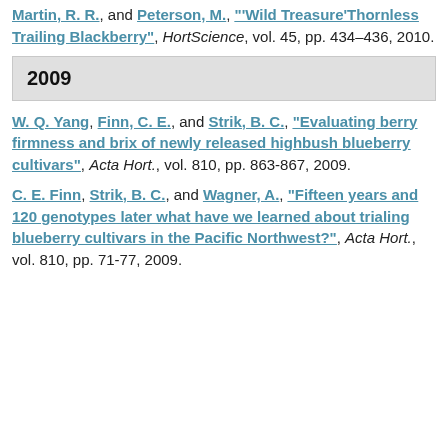Martin, R. R., and Peterson, M., "'Wild Treasure'Thornless Trailing Blackberry'", HortScience, vol. 45, pp. 434–436, 2010.
2009
W. Q. Yang, Finn, C. E., and Strik, B. C., "Evaluating berry firmness and brix of newly released highbush blueberry cultivars", Acta Hort., vol. 810, pp. 863-867, 2009.
C. E. Finn, Strik, B. C., and Wagner, A., "Fifteen years and 120 genotypes later what have we learned about trialing blueberry cultivars in the Pacific Northwest?", Acta Hort., vol. 810, pp. 71-77, 2009.